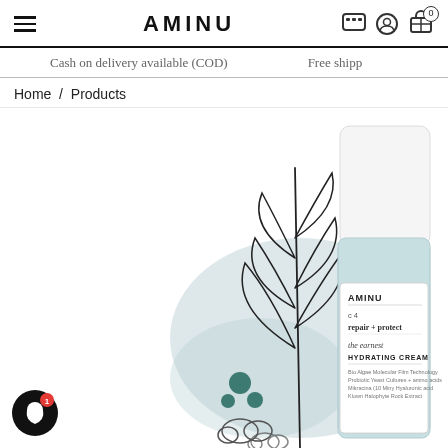AMINU
Cash on delivery available (COD)   Free shipp
Home / Products
[Figure (photo): AMINU skincare product - 'The Earnest Hydrating Cream' (repair + protect, c4) in a light blue cylindrical bottle, displayed alongside botanical line-art illustrations of leaves and berries, with a soft teal/grey background blob shape. The product label reads: AMINU, c4, repair + protect, the earnest, HYDRATING CREAM, with ingredient text below.]